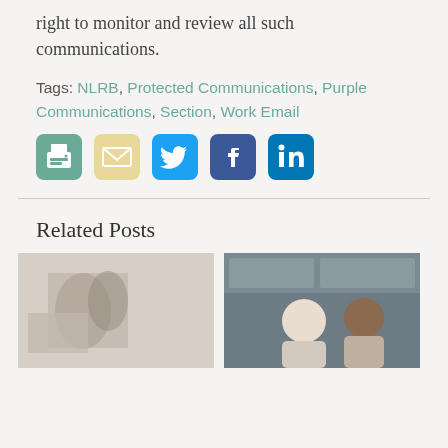right to monitor and review all such communications.
Tags: NLRB, Protected Communications, Purple Communications, Section, Work Email
[Figure (infographic): Social sharing icons: print (green), email (tan/yellow), Twitter (blue), Facebook (dark blue), LinkedIn (teal/blue)]
Related Posts
[Figure (photo): Two related post thumbnail images side by side: left shows a light-toned interior with abstract wall art; right shows two people (a woman with light hair and a man with dark hair) in conversation in a modern kitchen setting.]